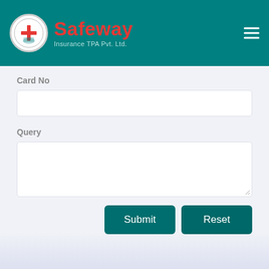Safeway Insurance TPA Pvt. Ltd.
Card No
Query
Submit
Reset